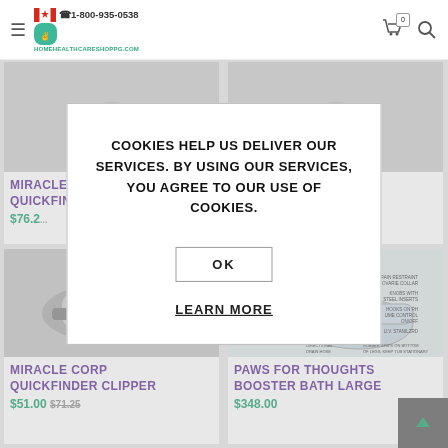[Figure (screenshot): Website header with hamburger menu, Canadian flag logo, phone number 1-800-935-0538, homehealthcareshoppg.com branding, shopping cart with 0 badge, and search icon]
MIRACLE CORP QUICKFINDER CLIPPER
$76.2...
MIRACLE CORP QUICKFINDER CLIPPER
$54.00...
COOKIES HELP US DELIVER OUR SERVICES. BY USING OUR SERVICES, YOU AGREE TO OUR USE OF COOKIES.
OK
LEARN MORE
[Figure (photo): Miracle Corp Quickfinder Clipper device image]
MIRACLE CORP QUICKFINDER CLIPPER
$51.00 $71.25
[Figure (schematic): Booster bath large diagram with labels: DRAIN RESTRAINT / OVARIE COLLAR, KNOBS WITH STEEL INSERTS, HOOKS ON RH, UME CONTROL ON/OFF, U.V. STANILIZED, DIRECTIONAL DRAIN HOSE, RUBBER GRIPS ON BOTTOM OF LEGS, KEEP TUB STATIONARY]
PAWS FOR THOUGHTS BOOSTER BATH LARGE
$348.00